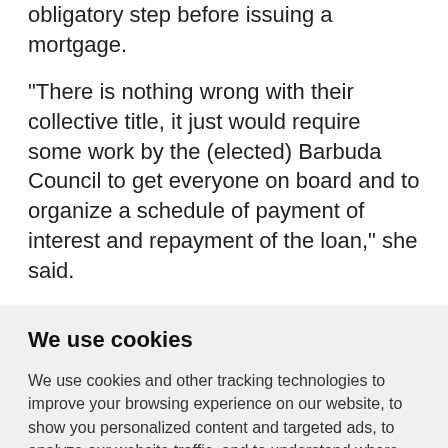obligatory step before issuing a mortgage.
"There is nothing wrong with their collective title, it just would require some work by the (elected) Barbuda Council to get everyone on board and to organize a schedule of payment of interest and repayment of the loan," she said.
We use cookies
We use cookies and other tracking technologies to improve your browsing experience on our website, to show you personalized content and targeted ads, to analyze our website traffic, and to understand where our visitors are coming from.